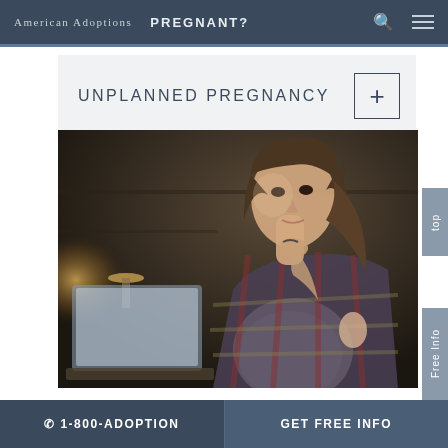American Adoptions  PREGNANT?
UNPLANNED PREGNANCY
[Figure (photo): A young pregnant woman in a plaid shirt sitting at a desk with a laptop in a dimly lit room, looking thoughtfully to the side, holding glasses near her chin.]
☎ 1-800-ADOPTION   GET FREE INFO